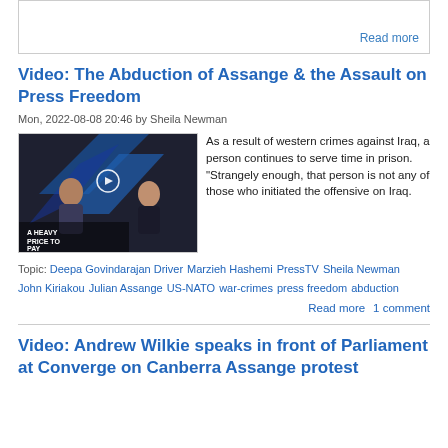Read more
Video: The Abduction of Assange & the Assault on Press Freedom
Mon, 2022-08-08 20:46 by Sheila Newman
[Figure (photo): A TV video thumbnail showing two people on a studio set with text overlay 'A HEAVY PRICE TO PAY']
As a result of western crimes against Iraq, a person continues to serve time in prison. "Strangely enough, that person is not any of those who initiated the offensive on Iraq.
Topic: Deepa Govindarajan Driver   Marzieh Hashemi   PressTV   Sheila Newman   John Kiriakou   Julian Assange   US-NATO   war-crimes   press freedom   abduction
Read more   1 comment
Video: Andrew Wilkie speaks in front of Parliament at Converge on Canberra Assange protest